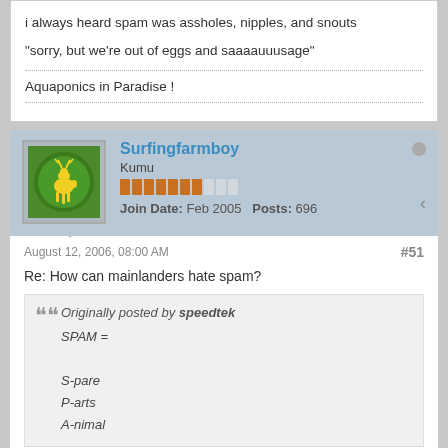i always heard spam was assholes, nipples, and snouts
"sorry, but we're out of eggs and saaaauuusage"
Aquaponics in Paradise !
Surfingfarmboy
Kumu
Join Date: Feb 2005   Posts: 696
August 12, 2006, 08:00 AM
#51
Re: How can mainlanders hate spam?
Originally posted by speedtek
SPAM =

S-pare
P-arts
A-nimal